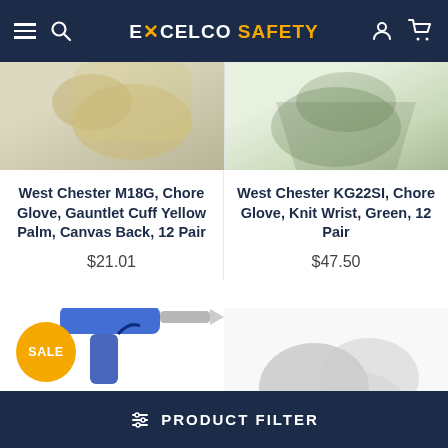EXCELCO SAFETY
[Figure (photo): Top portion of two product images: left shows a tan/yellow canvas work glove, right shows a green work glove, both partially visible at the top of the page.]
West Chester M18G, Chore Glove, Gauntlet Cuff Yellow Palm, Canvas Back, 12 Pair
$21.01
West Chester KG22SI, Chore Glove, Knit Wrist, Green, 12 Pair
$47.50
[Figure (photo): Bottom product images: left shows a blue spray gun/nozzle tool with a SALE badge overlay, right shows a pair of gray/white work gloves.]
PRODUCT FILTER